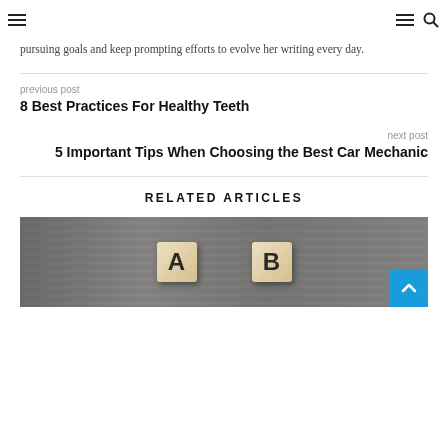Navigation header with hamburger menu and search icon
...pursuing goals and keep prompting efforts to evolve her writing every day.
previous post
8 Best Practices For Healthy Teeth
next post
5 Important Tips When Choosing the Best Car Mechanic
RELATED ARTICLES
[Figure (photo): Wooden letter blocks showing A and B on a wood grain background]